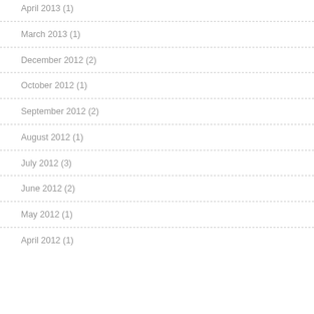April 2013 (1)
March 2013 (1)
December 2012 (2)
October 2012 (1)
September 2012 (2)
August 2012 (1)
July 2012 (3)
June 2012 (2)
May 2012 (1)
April 2012 (1)